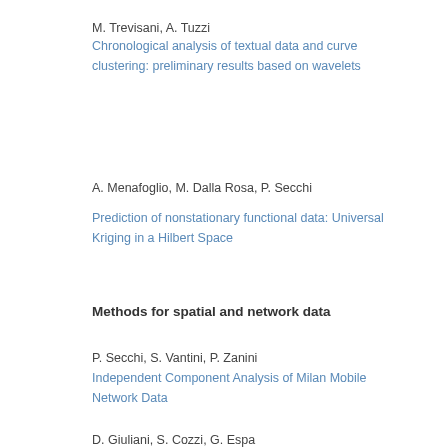M. Trevisani, A. Tuzzi
Chronological analysis of textual data and curve clustering: preliminary results based on wavelets
A. Menafoglio, M. Dalla Rosa, P. Secchi
Prediction of nonstationary functional data: Universal Kriging in a Hilbert Space
Methods for spatial and network data
P. Secchi, S. Vantini, P. Zanini
Independent Component Analysis of Milan Mobile Network Data
D. Giuliani, S. Cozzi, G. Espa